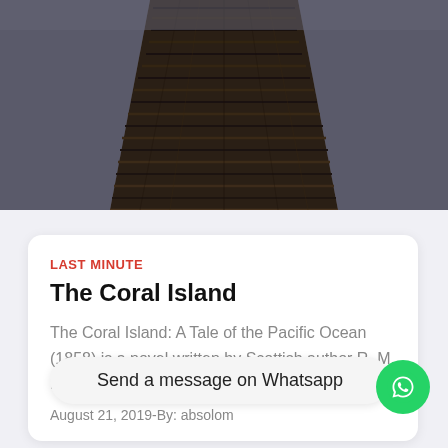[Figure (photo): Aerial or perspective view of a dark wooden dock/pier with planks receding into the distance, with dark water or sky visible at the top edges.]
LAST MINUTE
The Coral Island
The Coral Island: A Tale of the Pacific Ocean (1858) is a novel written by Scottish author R. M. Ballantyne. One of the first works...
Send a message on Whatsapp
August 21, 2019-By: absolom